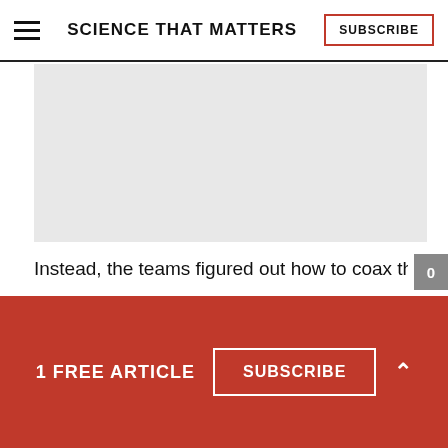SCIENCE THAT MATTERS
[Figure (other): Gray placeholder image area]
Instead, the teams figured out how to coax the
1 FREE ARTICLE  SUBSCRIBE